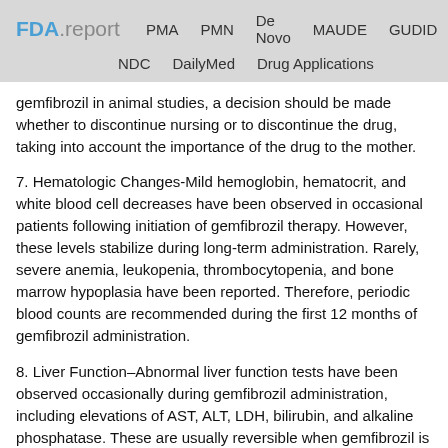FDA.report  PMA  PMN  De Novo  MAUDE  GUDID  NDC  DailyMed  Drug Applications
gemfibrozil in animal studies, a decision should be made whether to discontinue nursing or to discontinue the drug, taking into account the importance of the drug to the mother.
7. Hematologic Changes-Mild hemoglobin, hematocrit, and white blood cell decreases have been observed in occasional patients following initiation of gemfibrozil therapy. However, these levels stabilize during long-term administration. Rarely, severe anemia, leukopenia, thrombocytopenia, and bone marrow hypoplasia have been reported. Therefore, periodic blood counts are recommended during the first 12 months of gemfibrozil administration.
8. Liver Function–Abnormal liver function tests have been observed occasionally during gemfibrozil administration, including elevations of AST, ALT, LDH, bilirubin, and alkaline phosphatase. These are usually reversible when gemfibrozil is discontinued. Therefore, periodic liver function studies are recommended and gemfibrozil therapy should be terminated if